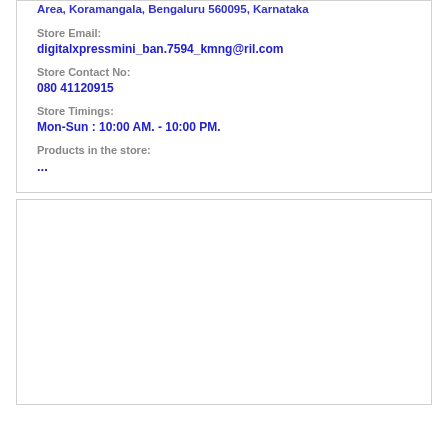Area, Koramangala, Bengaluru 560095, Karnataka
Store Email:
digitalxpressmini_ban.7594_kmng@ril.com
Store Contact No:
080 41120915
Store Timings:
Mon-Sun : 10:00 AM. - 10:00 PM.
Products in the store:
...